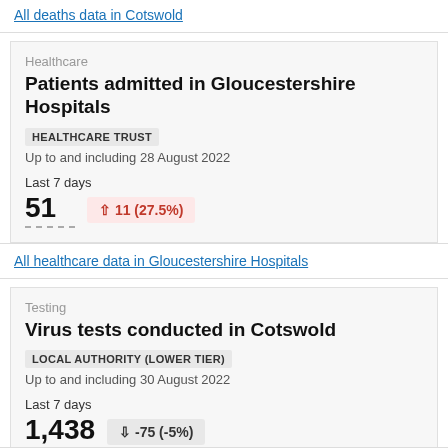All deaths data in Cotswold
Healthcare
Patients admitted in Gloucestershire Hospitals
HEALTHCARE TRUST
Up to and including 28 August 2022
Last 7 days
51  ↑ 11 (27.5%)
All healthcare data in Gloucestershire Hospitals
Testing
Virus tests conducted in Cotswold
LOCAL AUTHORITY (LOWER TIER)
Up to and including 30 August 2022
Last 7 days
1,438  ↓ -75 (-5%)